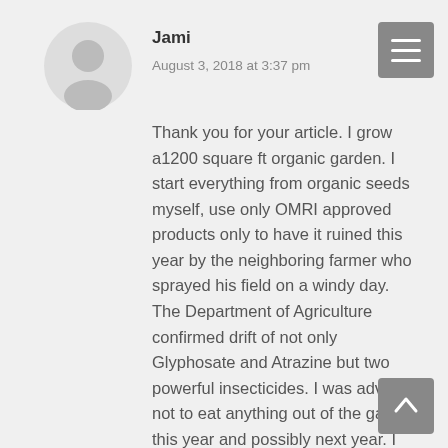Jami
August 3, 2018 at 3:37 pm
Thank you for your article. I grow a1200 square ft organic garden. I start everything from organic seeds myself, use only OMRI approved products only to have it ruined this year by the neighboring farmer who sprayed his field on a windy day. The Department of Agriculture confirmed drift of not only Glyphosate and Atrazine but two powerful insecticides. I was advised not to eat anything out of the garden this year and possibly next year. I was outside when he sprayed not knowing what it was until a couple of weeks later when my plants showed symptoms of drift. Since then I've had several health issues and am trying to find out the worst case scenario...